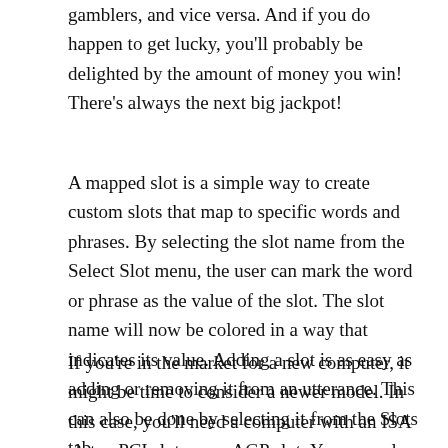gamblers, and vice versa. And if you do happen to get lucky, you'll probably be delighted by the amount of money you win! There's always the next big jackpot!
A mapped slot is a simple way to create custom slots that map to specific words and phrases. By selecting the slot name from the Select Slot menu, the user can mark the word or phrase as the value of the slot. The slot name will now be colored in a way that indicates its value. Adding a slot is as easy as adding or removing it from an utterance. This can also be done by selecting it from the Slots tab.
If you're in the market for a new computer, it might be time to consider a newer model. In this case, you'll need a computer with an ISA slot, a PCI slot, or an AGP slot. You may also want to consider an AMD slot, as it's incompatible with the original Slot. You'll find a newer, bigger slot in the newer models of computers, and a